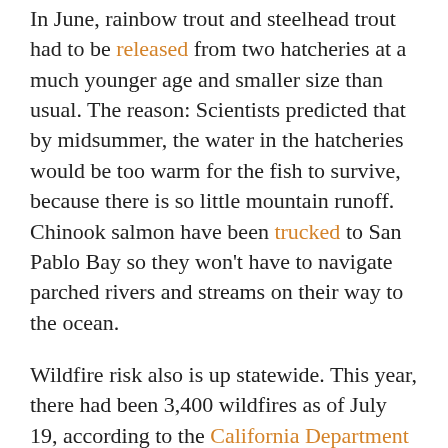In June, rainbow trout and steelhead trout had to be released from two hatcheries at a much younger age and smaller size than usual. The reason: Scientists predicted that by midsummer, the water in the hatcheries would be too warm for the fish to survive, because there is so little mountain runoff. Chinook salmon have been trucked to San Pablo Bay so they won't have to navigate parched rivers and streams on their way to the ocean.
Wildfire risk also is up statewide. This year, there had been 3,400 wildfires as of July 19, according to the California Department of Forestry and Fire Protection. That's an increase of 36 percent over the five-year average.
In May, more than a dozen wildfires raged in San Diego County. The wildfire season there is usually in the fall following the hot, dry summer.